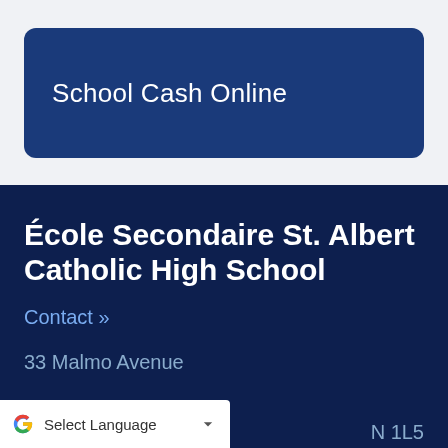[Figure (screenshot): School Cash Online button — dark navy blue rounded rectangle with white text reading 'School Cash Online']
École Secondaire St. Albert Catholic High School
Contact »
33 Malmo Avenue
N 1L5
[Figure (other): Google Translate widget bar showing Google G logo, 'Select Language' text, and a dropdown chevron]